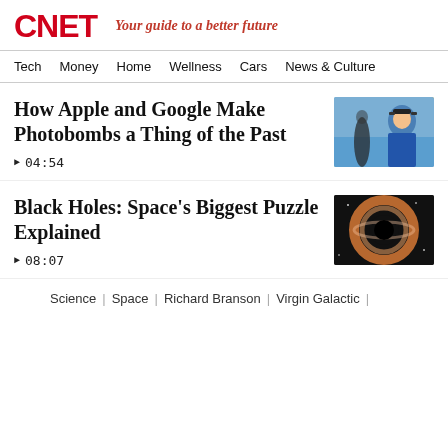CNET — Your guide to a better future
Tech | Money | Home | Wellness | Cars | News & Culture
How Apple and Google Make Photobombs a Thing of the Past
▶ 04:54
[Figure (photo): Thumbnail for Apple/Google photobombs video — man in blue shirt with sunglasses outdoors]
Black Holes: Space's Biggest Puzzle Explained
▶ 08:07
[Figure (photo): Thumbnail for Black Holes video — artistic rendering of a black hole with accretion disk]
Science | Space | Richard Branson | Virgin Galactic |